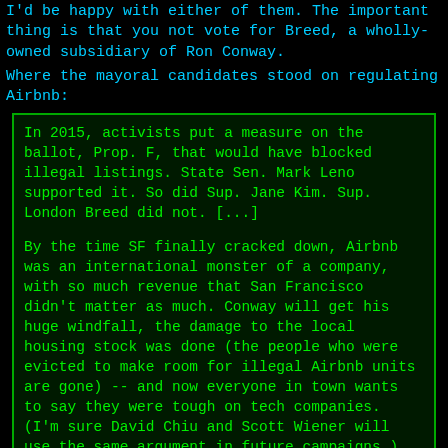I'd be happy with either of them. The important thing is that you not vote for Breed, a wholly-owned subsidiary of Ron Conway.
Where the mayoral candidates stood on regulating Airbnb:
In 2015, activists put a measure on the ballot, Prop. F, that would have blocked illegal listings. State Sen. Mark Leno supported it. So did Sup. Jane Kim. Sup. London Breed did not. [...]

By the time SF finally cracked down, Airbnb was an international monster of a company, with so much revenue that San Francisco didn't matter as much. Conway will get his huge windfall, the damage to the local housing stock was done (the people who were evicted to make room for illegal Airbnb units are gone) -- and now everyone in town wants to say they were tough on tech companies. (I'm sure David Chiu and Scott Wiener will use the same argument in future campaigns.)

But there is an actual record here.
(And don't just select the same name three times: that's not how ranked-choice voting works.)
Previously, previously, previously, previously.